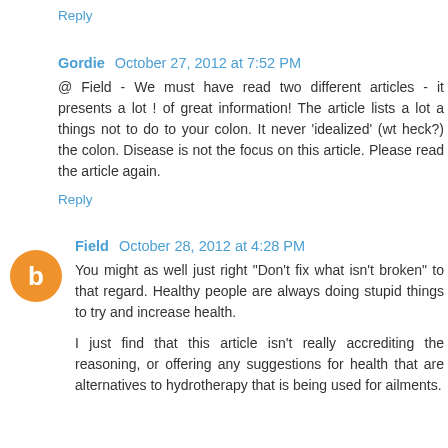Reply
Gordie  October 27, 2012 at 7:52 PM
@ Field - We must have read two different articles - it presents a lot ! of great information! The article lists a lot a things not to do to your colon. It never 'idealized' (wt heck?) the colon. Disease is not the focus on this article. Please read the article again.
Reply
Field  October 28, 2012 at 4:28 PM
You might as well just right "Don't fix what isn't broken" to that regard. Healthy people are always doing stupid things to try and increase health.

I just find that this article isn't really accrediting the reasoning, or offering any suggestions for health that are alternatives to hydrotherapy that is being used for ailments.